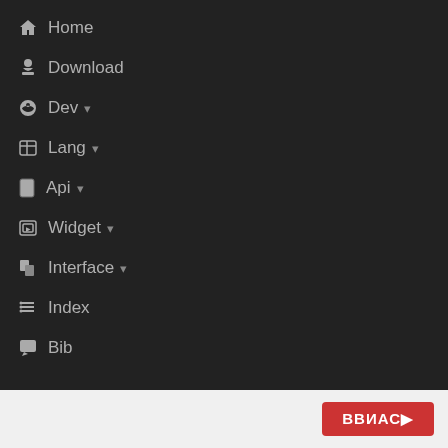Home
Download
Dev
Lang
Api
Widget
Interface
Index
Bib
[Figure (screenshot): Red button partially visible at bottom right of page]